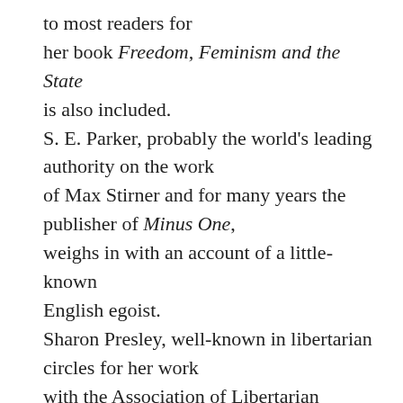to most readers for her book Freedom, Feminism and the State is also included. S. E. Parker, probably the world's leading authority on the work of Max Stirner and for many years the publisher of Minus One, weighs in with an account of a little-known English egoist. Sharon Presley, well-known in libertarian circles for her work with the Association of Libertarian Feminists–and as co-founder of Laissez-Faire Books– offers a piece on the feminist themes in Liberty. William O. Reichert, author of